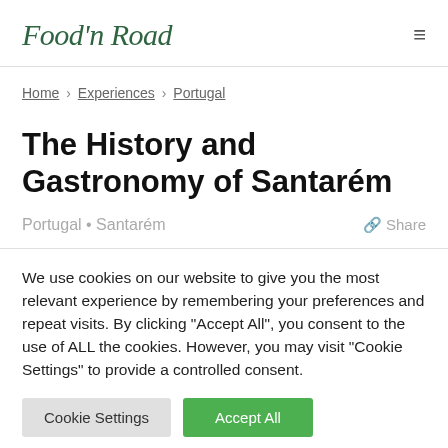Food'n Road
Home › Experiences › Portugal
The History and Gastronomy of Santarém
Portugal • Santarém   🔗 Share
We use cookies on our website to give you the most relevant experience by remembering your preferences and repeat visits. By clicking "Accept All", you consent to the use of ALL the cookies. However, you may visit "Cookie Settings" to provide a controlled consent.
Cookie Settings | Accept All